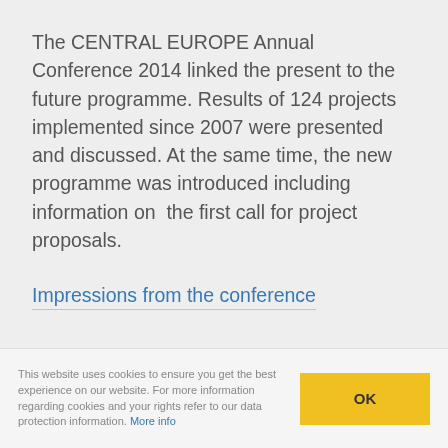The CENTRAL EUROPE Annual Conference 2014 linked the present to the future programme. Results of 124 projects implemented since 2007 were presented and discussed. At the same time, the new programme was introduced including information on  the first call for project proposals.
Impressions from the conference
This website uses cookies to ensure you get the best experience on our website. For more information regarding cookies and your rights refer to our data protection information. More info